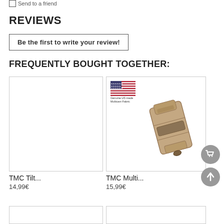Send to a friend
REVIEWS
Be the first to write your review!
FREQUENTLY BOUGHT TOGETHER:
[Figure (other): Product card 1 empty image placeholder for TMC Tilt...]
TMC Tilt...
14,99€
[Figure (photo): Product image of TMC Multi... showing a Multicam fabric clip/buckle with US Made Genuine Multicam Fabric badge]
TMC Multi...
15,99€